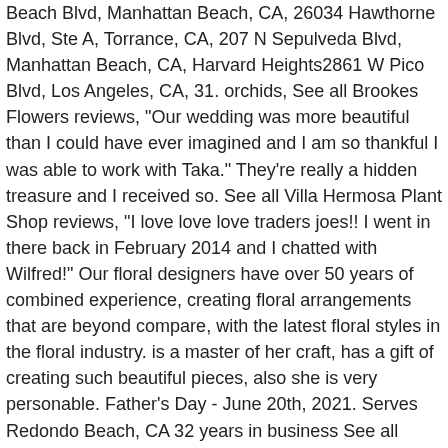Beach Blvd, Manhattan Beach, CA, 26034 Hawthorne Blvd, Ste A, Torrance, CA, 207 N Sepulveda Blvd, Manhattan Beach, CA, Harvard Heights2861 W Pico Blvd, Los Angeles, CA, 31. orchids, See all Brookes Flowers reviews, "Our wedding was more beautiful than I could have ever imagined and I am so thankful I was able to work with Taka." They're really a hidden treasure and I received so. See all Villa Hermosa Plant Shop reviews, "I love love love traders joes!! I went in there back in February 2014 and I chatted with Wilfred!" Our floral designers have over 50 years of combined experience, creating floral arrangements that are beyond compare, with the latest floral styles in the floral industry. is a master of her craft, has a gift of creating such beautiful pieces, also she is very personable. Father's Day - June 20th, 2021. Serves Redondo Beach, CA 32 years in business See all Margaret Rose Floral Design reviews, "She did an amazing job at re-using ceremony pieces for the reception as well (which is what I wanted as well, since I hate extra waste)." When it comes to being a leading provider